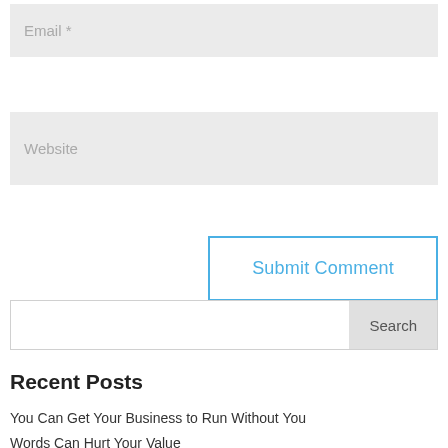Email *
Website
Submit Comment
Search
Recent Posts
You Can Get Your Business to Run Without You
Words Can Hurt Your Value